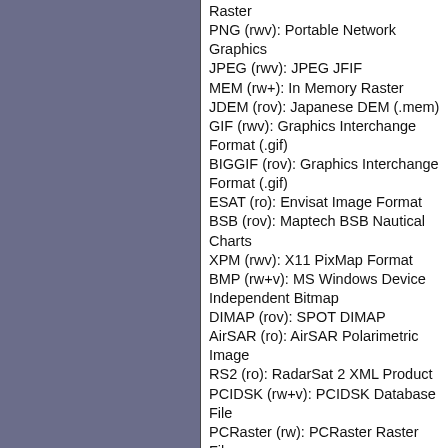Raster
PNG (rwv): Portable Network Graphics
JPEG (rwv): JPEG JFIF
MEM (rw+): In Memory Raster
JDEM (rov): Japanese DEM (.mem)
GIF (rwv): Graphics Interchange Format (.gif)
BIGGIF (rov): Graphics Interchange Format (.gif)
ESAT (ro): Envisat Image Format
BSB (rov): Maptech BSB Nautical Charts
XPM (rwv): X11 PixMap Format
BMP (rw+v): MS Windows Device Independent Bitmap
DIMAP (rov): SPOT DIMAP
AirSAR (ro): AirSAR Polarimetric Image
RS2 (ro): RadarSat 2 XML Product
PCIDSK (rw+v): PCIDSK Database File
PCRaster (rw): PCRaster Raster File
ILWIS (rw+v): ILWIS Raster Map
SGI (rw+): SGI Image File Format 1.0
SRTMHGT (rwv): SRTMHGT